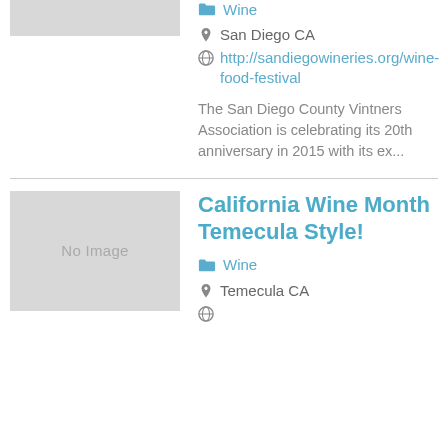[Figure (photo): Gray placeholder image thumbnail at top (partial, cropped)]
Wine
San Diego CA
http://sandiegowineries.org/wine-food-festival
The San Diego County Vintners Association is celebrating its 20th anniversary in 2015 with its ex...
[Figure (photo): Gray placeholder image with text 'No Image']
California Wine Month Temecula Style!
Wine
Temecula CA
(globe icon / URL)